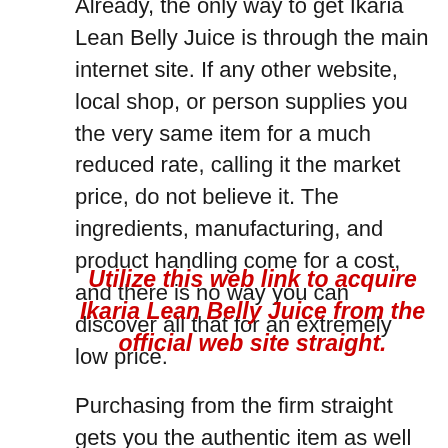Already, the only way to get Ikaria Lean Belly Juice is through the main internet site. If any other website, local shop, or person supplies you the very same item for a much reduced rate, calling it the market price, do not believe it. The ingredients, manufacturing, and product handling come for a cost, and there is no way you can discover all that for an extremely low price.
Utilize this web link to acquire Ikaria Lean Belly Juice from the official web site straight.
Purchasing from the firm straight gets you the authentic item as well as makes you qualified to numerous discounts and offers. For now, the company is supplying a substantial discount on